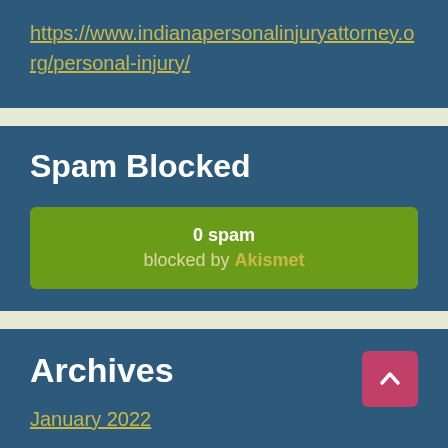https://www.indianapersonalinjuryattorney.org/personal-injury/
Spam Blocked
0 spam blocked by Akismet
Archives
January 2022